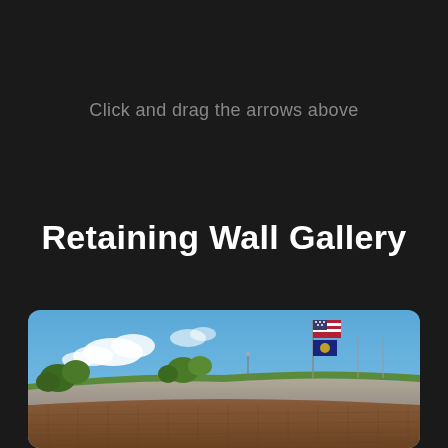Click and drag the arrows above
Retaining Wall Gallery
[Figure (photo): Photograph of a retaining wall made of brick at the bottom and concrete at the top, with trees and green grass visible along the top edge, flags on a flagpole (American flag and one other), blue sky with white clouds in the background.]